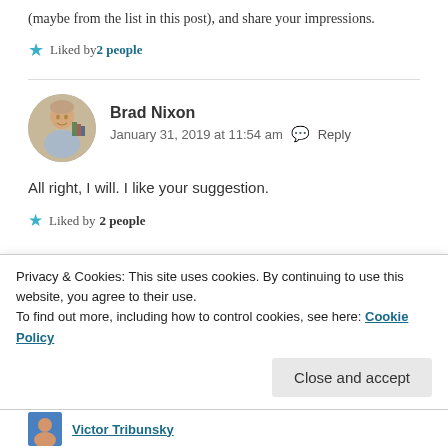(maybe from the list in this post), and share your impressions.
★ Liked by 2 people
Brad Nixon
January 31, 2019 at 11:54 am   Reply
All right, I will. I like your suggestion.
★ Liked by 2 people
Privacy & Cookies: This site uses cookies. By continuing to use this website, you agree to their use.
To find out more, including how to control cookies, see here: Cookie Policy
Close and accept
Victor Tribunsky